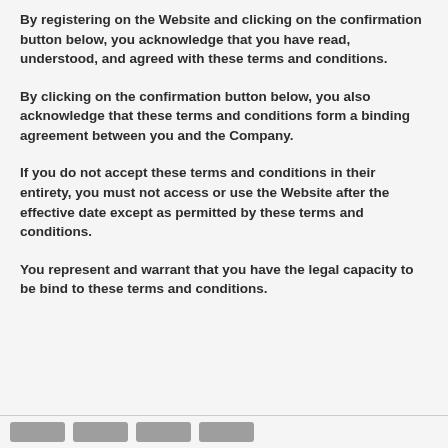By registering on the Website and clicking on the confirmation button below, you acknowledge that you have read, understood, and agreed with these terms and conditions.
By clicking on the confirmation button below, you also acknowledge that these terms and conditions form a binding agreement between you and the Company.
If you do not accept these terms and conditions in their entirety, you must not access or use the Website after the effective date except as permitted by these terms and conditions.
You represent and warrant that you have the legal capacity to be bind to these terms and conditions.